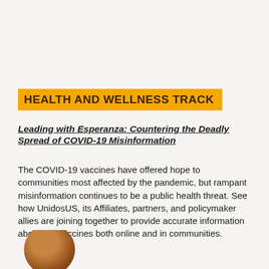HEALTH AND WELLNESS TRACK
Leading with Esperanza: Countering the Deadly Spread of COVID-19 Misinformation
The COVID-19 vaccines have offered hope to communities most affected by the pandemic, but rampant misinformation continues to be a public health threat. See how UnidosUS, its Affiliates, partners, and policymaker allies are joining together to provide accurate information about the vaccines both online and in communities.
[Figure (photo): Partial view of a person's head/face at the bottom of the page, cropped circular portrait]